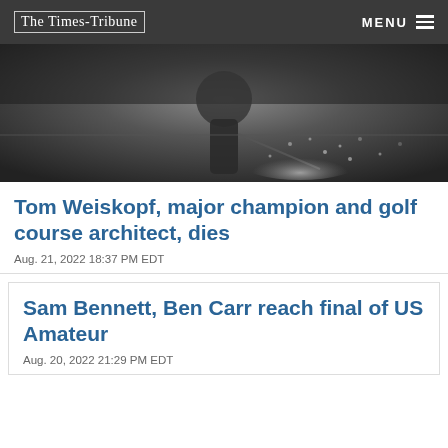The Times-Tribune | MENU
[Figure (photo): Black and white photo of a golfer swinging, sand flying around them]
Tom Weiskopf, major champion and golf course architect, dies
Aug. 21, 2022 18:37 PM EDT
Sam Bennett, Ben Carr reach final of US Amateur
Aug. 20, 2022 21:29 PM EDT